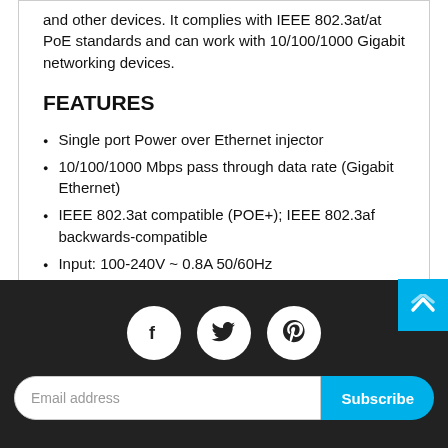and other devices. It complies with IEEE 802.3at/at PoE standards and can work with 10/100/1000 Gigabit networking devices.
FEATURES
Single port Power over Ethernet injector
10/100/1000 Mbps pass through data rate (Gigabit Ethernet)
IEEE 802.3at compatible (POE+); IEEE 802.3af backwards-compatible
Input: 100-240V ~ 0.8A 50/60Hz
Output: 48V, 0.5A
Social icons and subscribe footer